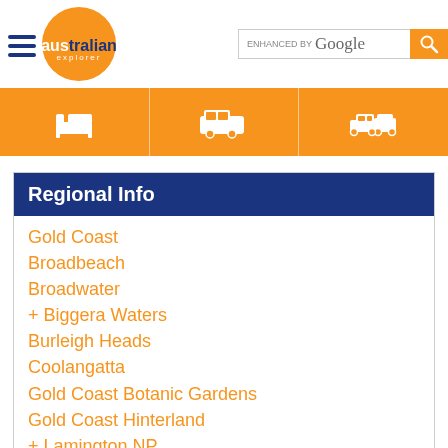Australian Explorer - ENHANCED BY Google
Regional Info
Gold Coast
Broadbeach
Broadwater
+ Biggera Waters
Burleigh Heads
Coolangatta
Gold Coast Botanic Gardens
Gold Coast Hinterland
+ Lamington NP
+ Springbrook NP
+ Tamborine Mountain
Main Beach
North Stradbroke Island
Southport
Surfers Paradise
Queensland